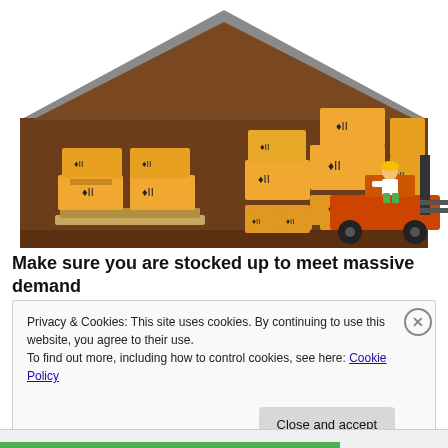[Figure (illustration): Warehouse illustration showing a forklift operator moving cardboard boxes stacked on pallets inside a brown warehouse building with a peaked roof. Multiple boxes with fragile symbols are visible.]
Make sure you are stocked up to meet massive demand
Privacy & Cookies: This site uses cookies. By continuing to use this website, you agree to their use.
To find out more, including how to control cookies, see here: Cookie Policy
Close and accept